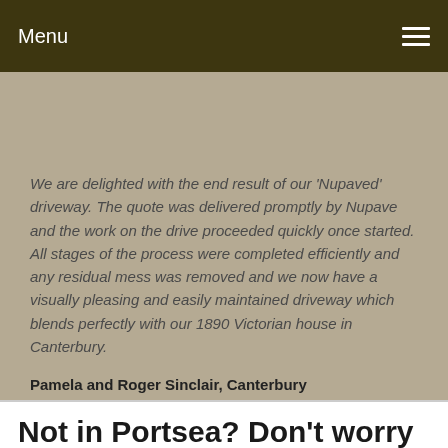Menu
We are delighted with the end result of our 'Nupaved' driveway. The quote was delivered promptly by Nupave and the work on the drive proceeded quickly once started. All stages of the process were completed efficiently and any residual mess was removed and we now have a visually pleasing and easily maintained driveway which blends perfectly with our 1890 Victorian house in Canterbury.

Pamela and Roger Sinclair, Canterbury
Not in Portsea? Don't worry we also service: